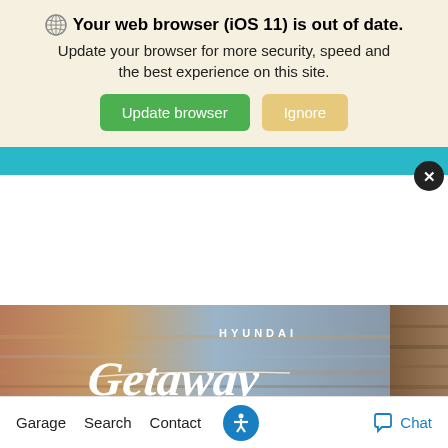[Figure (screenshot): Browser update notification banner with globe icon, bold text 'Your web browser (iOS 11) is out of date.', subtitle text, green 'Update browser' button and tan 'Ignore' button on a light yellow/beige background.]
[Figure (screenshot): Teal horizontal navigation bar with a black circle X close button on the right side.]
[Figure (screenshot): Hyundai Getaway Sales Event promotional banner image with script text on a blurred sunset background.]
[Figure (screenshot): Bottom navigation bar with Garage, Search, Contact links, blue accessibility icon, and Chat link with icon.]